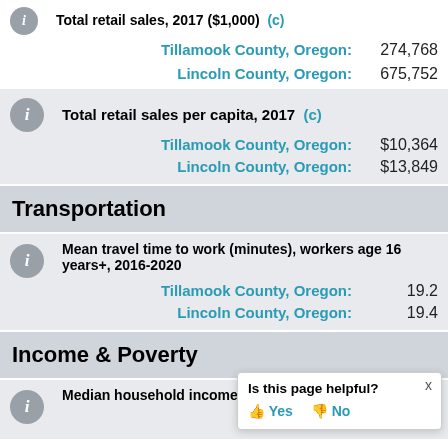Total retail sales, 2017 ($1,000) (c)
Tillamook County, Oregon: 274,768
Lincoln County, Oregon: 675,752
Total retail sales per capita, 2017 (c)
Tillamook County, Oregon: $10,364
Lincoln County, Oregon: $13,849
Transportation
Mean travel time to work (minutes), workers age 16 years+, 2016-2020
Tillamook County, Oregon: 19.2
Lincoln County, Oregon: 19.4
Income & Poverty
Median household income (in...
Is this page helpful? Yes No